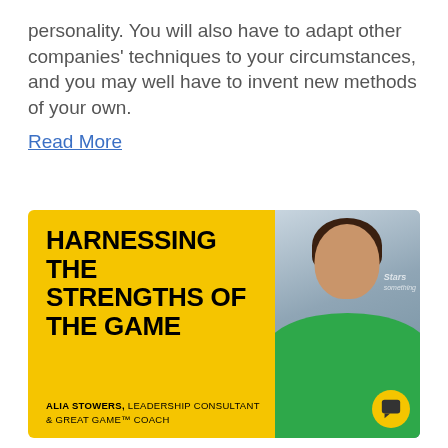personality. You will also have to adapt other companies' techniques to your circumstances, and you may well have to invent new methods of your own.
Read More
[Figure (infographic): Yellow promotional card for 'Harnessing the Strengths of The Game' featuring Alia Stowers, Leadership Consultant & Great Game Coach, with a photo of a smiling woman in a green jacket on the right side.]